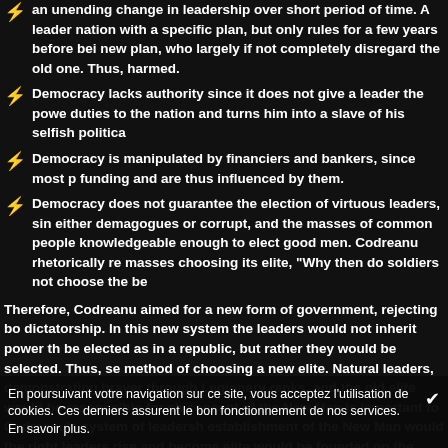an unending change in leadership over short period of time. A leader a nation with a specific plan, but only rules for a few years before being replaced by someone with a new plan, who largely if not completely disregard the old one. Thus, the national interest is harmed.
Democracy lacks authority since it does not give a leader the power to properly fulfill his duties to the nation and turns him into a slave of his selfish political interests.
Democracy is manipulated by financiers and bankers, since most politicians rely on their funding and are thus influenced by them.
Democracy does not guarantee the election of virtuous leaders, since politicians are either demagogues or corrupt, and the masses of common people are not knowledgeable enough to elect good men. Codreanu rhetorically remarked about the masses choosing its elite, "Why then do soldiers not choose the best general?"
Therefore, Codreanu aimed for a new form of government, rejecting both democracy and dictatorship. In this new system the leaders would not inherit power through lineage, nor be elected as in a republic, but rather they would be selected. Thus, selection was the method of choosing a new elite. Natural leaders, demonstrating bravery and character, would rise through Legionary ranks, and the old elite would be responsible for choosing their successors. The concept of the New Man is important to Codreanu's system of leadership, since only with the establishment of the New Man would the right leaders rise and become the elite. This new elite would be founded on the principles Codreanu himself laid out: "a) Love of God. b) Love of work and creativity. c) Bravery. d) Tough living and permanent warring spirit for the nation. e) Poverty, namely voluntary renunciation of amassing a fortune."
This new system of government which Codreanu aimed to establish was authoritarian, but would not be totalitarian. He described it in this way: "He (the leader) does what he has to do. And he is guided, not by individual interests... In the framework of these interests and only in their framework, personal and collective ones find the highest degree of normal satisfaction."
En poursuivant votre navigation sur ce site, vous acceptez l'utilisation de cookies. Ces derniers assurent le bon fonctionnement de nos services. En savoir plus.